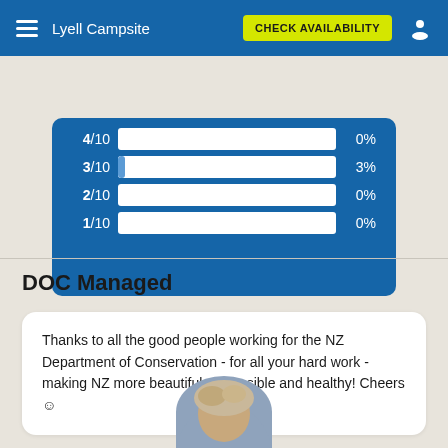Lyell Campsite — CHECK AVAILABILITY
[Figure (bar-chart): Rating distribution]
DOC Managed
Thanks to all the good people working for the NZ Department of Conservation - for all your hard work - making NZ more beautiful, accessible and healthy! Cheers ☺
[Figure (photo): Circular avatar photo of a person with light hair, partially visible at bottom of page]